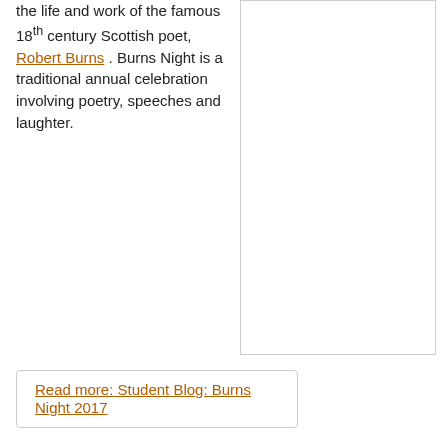the life and work of the famous 18th century Scottish poet, Robert Burns. Burns Night is a traditional annual celebration involving poetry, speeches and laughter.
[Figure (photo): White/blank image panel on the right side of the layout]
Read more: Student Blog: Burns Night 2017